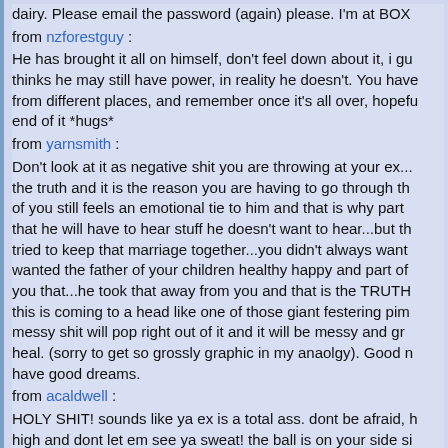dairy. Please email the password (again) please. I'm at BOX
from nzforestguy :
He has brought it all on himself, don't feel down about it, i gu thinks he may still have power, in reality he doesn't. You have from different places, and remember once it's all over, hopef end of it *hugs*
from yarnsmith :
Don't look at it as negative shit you are throwing at your ex... the truth and it is the reason you are having to go through th of you still feels an emotional tie to him and that is why part that he will have to hear stuff he doesn't want to hear...but th tried to keep that marriage together...you didn't always want wanted the father of your children healthy happy and part of you that...he took that away from you and that is the TRUTH this is coming to a head like one of those giant festering pim messy shit will pop right out of it and it will be messy and gr heal. (sorry to get so grossly graphic in my anaolgy). Good n have good dreams.
from acaldwell :
HOLY SHIT! sounds like ya ex is a total ass. dont be afraid, h high and dont let em see ya sweat! the ball is on your side si compliance here, so dont bee afraid! ya stand tall and look g be strong, it wont last long, you will win! you got a whole lot
from radiogurl :